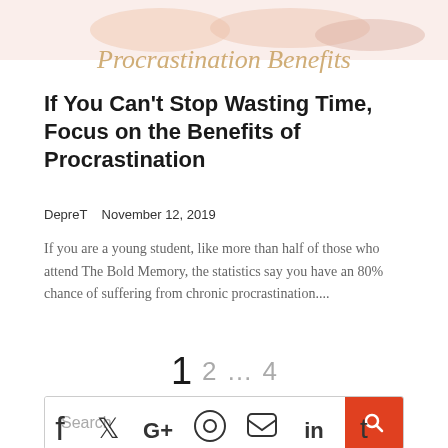[Figure (illustration): Decorative banner image with script text 'Procrastination Benefits' in tan/gold cursive over a light pastel background with illustrated hands]
If You Can't Stop Wasting Time, Focus on the Benefits of Procrastination
DepreT   November 12, 2019
If you are a young student, like more than half of those who attend The Bold Memory, the statistics say you have an 80% chance of suffering from chronic procrastination....
1  2  ...  4
Search
[Figure (infographic): Social media icons row: Facebook, Twitter, Google+, Pinterest, RSS/email, LinkedIn, Tumblr]